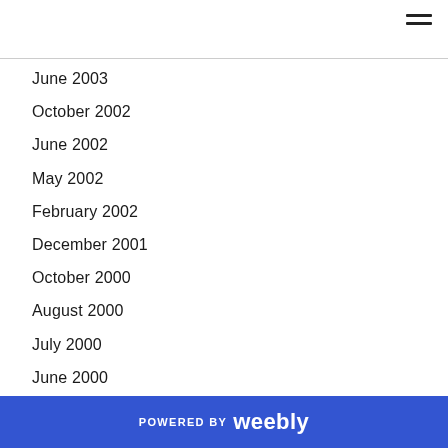June 2003
October 2002
June 2002
May 2002
February 2002
December 2001
October 2000
August 2000
July 2000
June 2000
May 2000
February 2000
December 1999
November 1999
October 1999
POWERED BY weebly